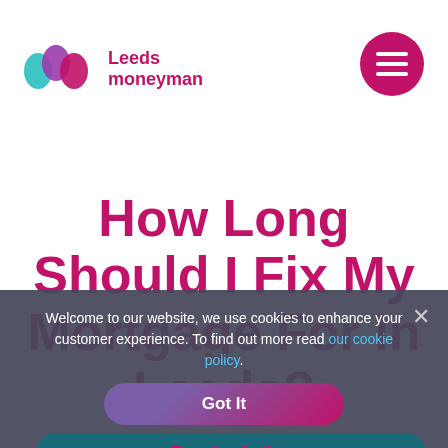[Figure (logo): Leeds Moneyman logo with stylized M in teal/purple/pink gradient and company name in pink]
How Long Should I Fix My Mortgage For In Leeds?
Welcome to our website, we use cookies to enhance your customer experience. To find out more read our cookie policy.
Got It
Enquire Online